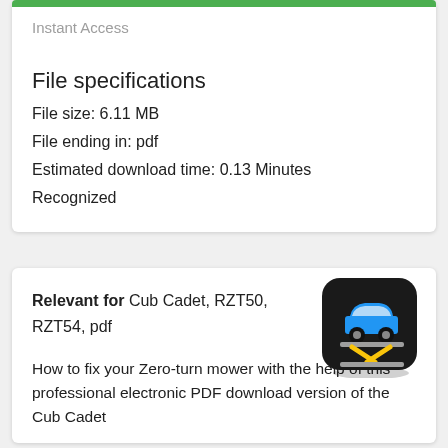[Figure (other): Green progress/download bar at the top of a card]
Instant Access
File specifications
File size: 6.11 MB
File ending in: pdf
Estimated download time: 0.13 Minutes
Recognized
Relevant for Cub Cadet, RZT50, RZT54, pdf
[Figure (illustration): App icon showing a blue car on a black rounded-square background with a yellow scissor lift underneath]
How to fix your Zero-turn mower with the help of this professional electronic PDF download version of the Cub Cadet